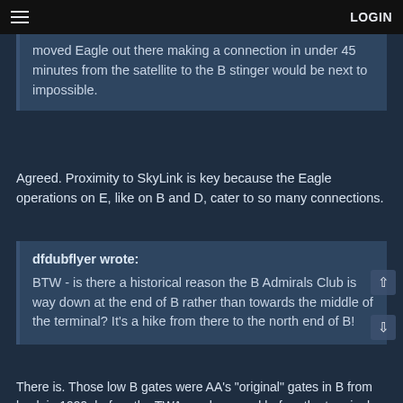LOGIN
moved Eagle out there making a connection in under 45 minutes from the satellite to the B stinger would be next to impossible.
Agreed. Proximity to SkyLink is key because the Eagle operations on E, like on B and D, cater to so many connections.
dfdubflyer wrote: BTW - is there a historical reason the B Admirals Club is way down at the end of B rather than towards the middle of the terminal? It's a hike from there to the north end of B!
There is. Those low B gates were AA's "original" gates in B from back in 1999, before the TWA purchase and before the terminals were reshuffled after Delta's hub closure. At that time, in 1999, AA began operating from low B gates, plus the B gate extension (which is today the B-D connector) and built that Admirals Club in what was, at that time, right in the middle of its gates in the area. Those gates were, at that time, prioritized for high-O&D and/or high-originating markets like LAX and ORD. Later, once AA's schedule declined post-9/11 but before